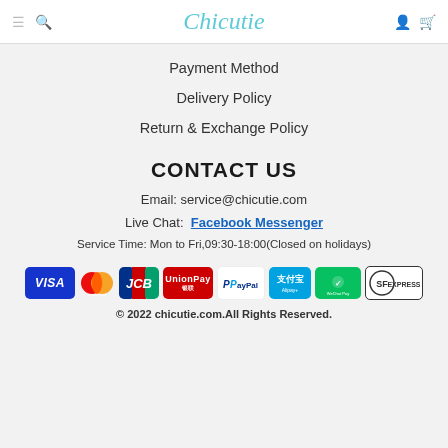Chicutie
Payment Method
Delivery Policy
Return & Exchange Policy
CONTACT US
Email: service@chicutie.com
Live Chat:  Facebook Messenger
Service Time: Mon to Fri,09:30-18:00(Closed on holidays)
[Figure (logo): Payment method logos: VISA, Mastercard, JCB, UnionPay, PayPal, Alipay, WeChat Pay, SF Express]
© 2022 chicutie.com.All Rights Reserved.